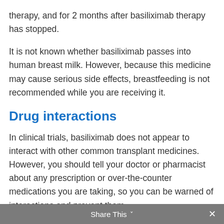therapy, and for 2 months after basiliximab therapy has stopped.
It is not known whether basiliximab passes into human breast milk. However, because this medicine may cause serious side effects, breastfeeding is not recommended while you are receiving it.
Drug interactions
In clinical trials, basiliximab does not appear to interact with other common transplant medicines. However, you should tell your doctor or pharmacist about any prescription or over-the-counter medications you are taking, so you can be warned of interactions and prevent them.
Share This ✕